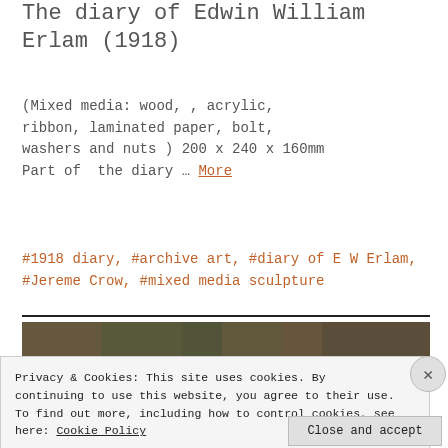The diary of Edwin William Erlam (1918)
(Mixed media: wood, , acrylic, ribbon, laminated paper, bolt, washers and nuts ) 200 x 240 x 160mm Part of  the diary … More
#1918 diary, #archive art, #diary of E W Erlam, #Jereme Crow, #mixed media sculpture
[Figure (photo): Photograph of a mixed media art piece related to the diary of E W Erlam, with text overlay reading 'The diary of E W Erlam']
Privacy & Cookies: This site uses cookies. By continuing to use this website, you agree to their use. To find out more, including how to control cookies, see here: Cookie Policy
Close and accept